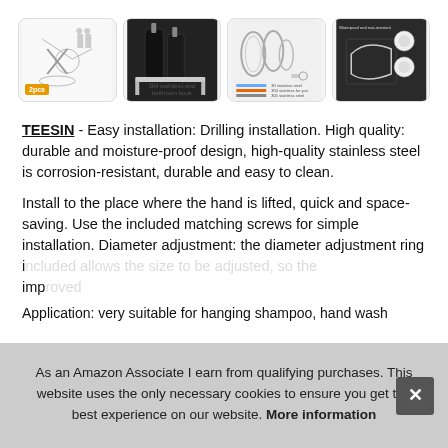[Figure (photo): Row of four product thumbnail images showing bathroom hook/holder product: (1) product parts diagram with '2pcs' badge, (2) black shampoo bottles on stainless holder labeled '304 stainless and bathroom hook', (3) material spec diagram with text '304 stainless steel material beautiful tremendous appearance, tension simple, durable', (4) product in wet/dark background with 'Waterproof and rust-resistant' label]
TEESIN - Easy installation: Drilling installation. High quality: durable and moisture-proof design, high-quality stainless steel is corrosion-resistant, durable and easy to clean.
Install to the place where the hand is lifted, quick and space-saving. Use the included matching screws for simple installation. Diameter adjustment: the diameter adjustment ring included allows the size to be adjusted, so the imp...
As an Amazon Associate I earn from qualifying purchases. This website uses the only necessary cookies to ensure you get the best experience on our website. More information
Application: very suitable for hanging shampoo, hand wash...